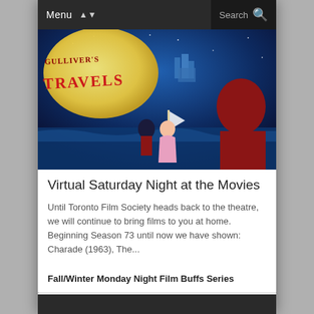Menu | Search
[Figure (illustration): Animated movie banner for Gulliver's Travels showing cartoon characters on a beach with a castle and moonlit ocean in the background. Title text reads GULLIVER'S TRAVELS.]
Virtual Saturday Night at the Movies
Until Toronto Film Society heads back to the theatre, we will continue to bring films to you at home. Beginning Season 73 until now we have shown: Charade (1963), The...
Fall/Winter Monday Night Film Buffs Series
Fall/Winter Sunday Matinée Film Buffs Series
Special Screenings at the Kingsway Theatre